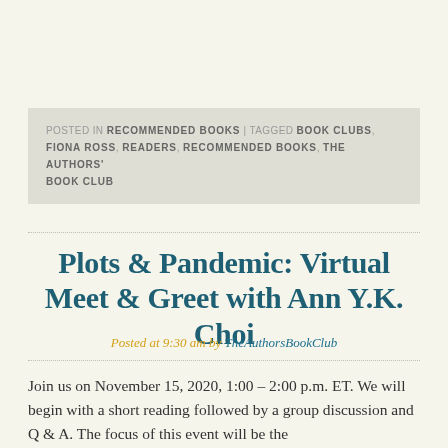POSTED IN RECOMMENDED BOOKS | TAGGED BOOK CLUBS, FIONA ROSS, READERS, RECOMMENDED BOOKS, THE AUTHORS' BOOK CLUB
Plots & Pandemic: Virtual Meet & Greet with Ann Y.K. Choi
Posted at 9:30 am by TheAuthorsBookClub
Join us on November 15, 2020, 1:00 – 2:00 p.m. ET. We will begin with a short reading followed by a group discussion and Q & A. The focus of this event will be the